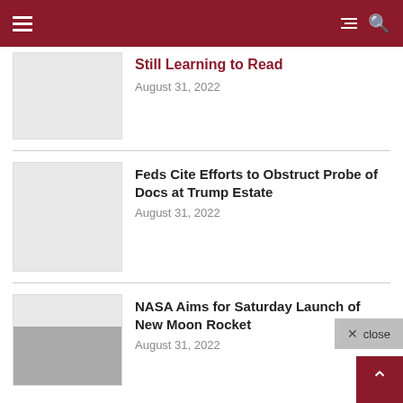Navigation header with hamburger menu and search icon
Still Learning to Read
August 31, 2022
Feds Cite Efforts to Obstruct Probe of Docs at Trump Estate
August 31, 2022
NASA Aims for Saturday Launch of New Moon Rocket
August 31, 2022